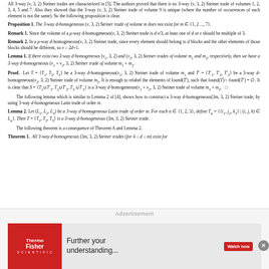All 3-way (v, 3, 2) Steiner trades are characterized in [5]. The authors proved that there is no 3-way (v, 3, 2) Steiner trade of volumes 1, 2, 3, 4, 5 and 7. Also they showed that the 3-way (v, 3, 2) Steiner trade of volume 9 is unique (where the number of occurrences of each element is not the same). So the following proposition is clear.
Proposition 1. The 3-way d-homogeneous (v, 3, 2) Steiner trade of volume m does not exist for m ∈ {1, 2 ..., 7}.
Remark 1. Since the volume of a μ-way d-homogeneous (v, 3, 2) Steiner trade is d·v/3, at least one of d or v should be multiple of 3.
Remark 2. In a μ-way d-homogeneous (v, 3, 2) Steiner trade, since every element should belong to d blocks and the other elements of those blocks should be different, so v ≥ 2d+1.
Lemma 1. If there exist two 3-way d-homogeneous (v1, 3, 2) and (v2, 3, 2) Steiner trades of volume m1 and m2, respectively, then we have a 3-way d-homogeneous (v1 + v2, 3, 2) Steiner trade of volume m1 + m2.
Proof. Let T = {T1, T2, T3} be a 3-way d-homogeneous (v1, 3, 2) Steiner trade of volume m1 and T' = {T'1, T'2, T'3} be a 3-way d-homogeneous (v2, 3, 2) Steiner trade of volume m2. It is enough to relabel the elements of found(T'), such that found(T)∩ found(T') = ∅. It is clear that S = {T1∪T'1, T2∪T'2, T3 ∪T'3} is a 3-way d-homogeneous (v1 + v2, 3, 2) Steiner trade of volume m1 + m2.
The following lemma which is similar to Lemma 2 of [4], shows how to construct a 3-way d-homogeneous (3m, 3, 2) Steiner trade, by using 3-way d-homogeneous Latin trade of order m.
Lemma 2. Let (L1, L2, L3) be a 3-way d-homogeneous Latin trade of order m. For each α ∈ {1, 2, 3}, define Tα = {{i1, j2, k3} | (i, j, k) ∈ Lα}. Then T = {T1, T2, T3} is a 3-way d-homogeneous (3m, 3, 2) Steiner trade.
The following theorem is a consequence of Theorem A and Lemma 2.
Theorem 1. All 3-way d-homogeneous (3m, 3, 2) Steiner trades (for 4 ≤ d ≤ m) exist for
[Figure (infographic): Advertisement banner for ThermoFisher Scientific with text 'Further your understanding...' and a 'Watch now' button]